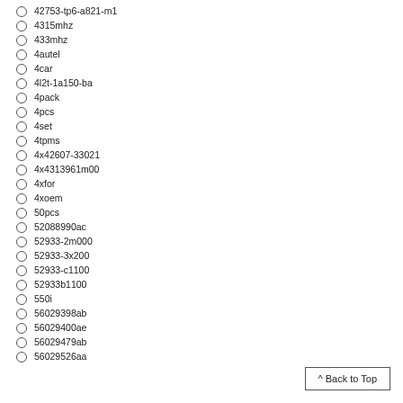42753-tp6-a821-m1
4315mhz
433mhz
4autel
4car
4l2t-1a150-ba
4pack
4pcs
4set
4tpms
4x42607-33021
4x4313961m00
4xfor
4xoem
50pcs
52088990ac
52933-2m000
52933-3x200
52933-c1100
52933b1100
550i
56029398ab
56029400ae
56029479ab
56029526aa
^ Back to Top